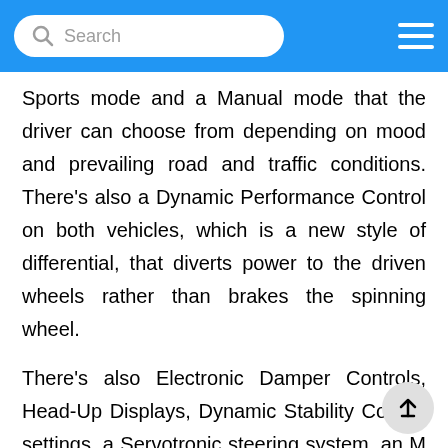Search
Sports mode and a Manual mode that the driver can choose from depending on mood and prevailing road and traffic conditions. There's also a Dynamic Performance Control on both vehicles, which is a new style of differential, that diverts power to the driven wheels rather than brakes the spinning wheel.
There's also Electronic Damper Controls, Head-Up Displays, Dynamic Stability Control settings, a Servotronic steering system, an M Drive Manager (a menu system that lets the driver tailor the car\'s characteristics) and more bells, whistles, blinking lights and technology than Werner von Braun could deal with.